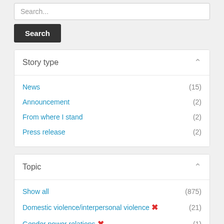Search...
Search
Story type
News (15)
Announcement (2)
From where I stand (2)
Press release (2)
Topic
Show all (875)
Domestic violence/interpersonal violence ✕ (21)
Gender power relations ✕ (1)
Ending violence against women and girls (146)
Gender equality and women's empowerment (105)